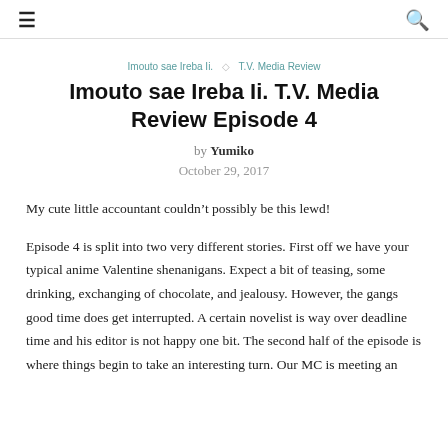☰  🔍
Imouto sae Ireba Ii.  ◇  T.V. Media Review
Imouto sae Ireba Ii. T.V. Media Review Episode 4
by Yumiko
October 29, 2017
My cute little accountant couldn't possibly be this lewd!
Episode 4 is split into two very different stories. First off we have your typical anime Valentine shenanigans. Expect a bit of teasing, some drinking, exchanging of chocolate, and jealousy. However, the gangs good time does get interrupted. A certain novelist is way over deadline time and his editor is not happy one bit. The second half of the episode is where things begin to take an interesting turn. Our MC is meeting an